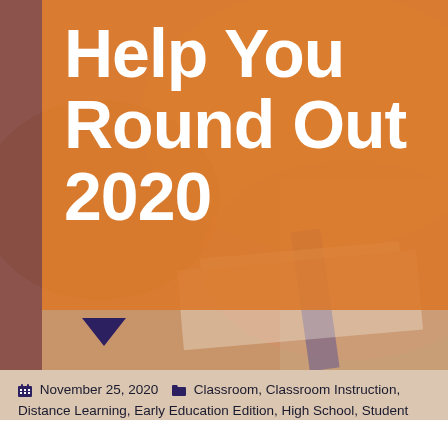Help You Round Out 2020
[Figure (photo): Background photo of a student desk with notebook and pen, blurred warm tones]
November 25, 2020  Classroom, Classroom Instruction, Distance Learning, Early Education Edition, High School, Student Engagement, Teachers, Upper Elementary  by admin